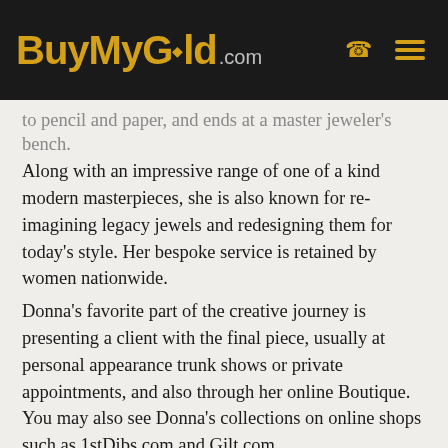BuyMyGold.com
to pencil and paper, and ends at a master jeweler's bench. Along with an impressive range of one of a kind modern masterpieces, she is also known for re-imagining legacy jewels and redesigning them for today's style. Her bespoke service is retained by women nationwide.
Donna's favorite part of the creative journey is presenting a client with the final piece, usually at personal appearance trunk shows or private appointments, and also through her online Boutique. You may also see Donna's collections on online shops such as 1stDibs.com and Gilt.com.
Among her notable pieces is a Cabochon-cut, circular-shaped blue chalcedony and South Sea pearl ear clips in 18k white gold with omega-style clip backs. Donna has also created 18-karat gold and diamond owl cuff links that